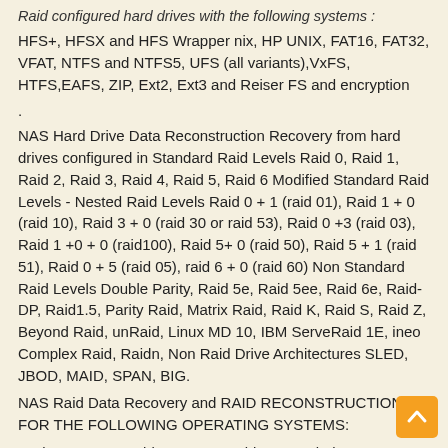Raid configured hard drives with the following systems :
HFS+, HFSX and HFS Wrapper nix, HP UNIX, FAT16, FAT32, VFAT, NTFS and NTFS5, UFS (all variants),VxFS, HTFS,EAFS, ZIP, Ext2, Ext3 and Reiser FS and encryption
.
NAS Hard Drive Data Reconstruction Recovery from hard drives configured in Standard Raid Levels Raid 0, Raid 1, Raid 2, Raid 3, Raid 4, Raid 5, Raid 6 Modified Standard Raid Levels - Nested Raid Levels Raid 0 + 1 (raid 01), Raid 1 + 0 (raid 10), Raid 3 + 0 (raid 30 or raid 53), Raid 0 +3 (raid 03), Raid 1 +0 + 0 (raid100), Raid 5+ 0 (raid 50), Raid 5 + 1 (raid 51), Raid 0 + 5 (raid 05), raid 6 + 0 (raid 60) Non Standard Raid Levels Double Parity, Raid 5e, Raid 5ee, Raid 6e, Raid-DP, Raid1.5, Parity Raid, Matrix Raid, Raid K, Raid S, Raid Z, Beyond Raid, unRaid, Linux MD 10, IBM ServeRaid 1E, ineo Complex Raid, Raidn, Non Raid Drive Architectures SLED, JBOD, MAID, SPAN, BIG.
NAS Raid Data Recovery and RAID RECONSTRUCTION FOR THE FOLLOWING OPERATING SYSTEMS:
Red Hat, Suse, Caldera, SCO, Debian, Mandrake,